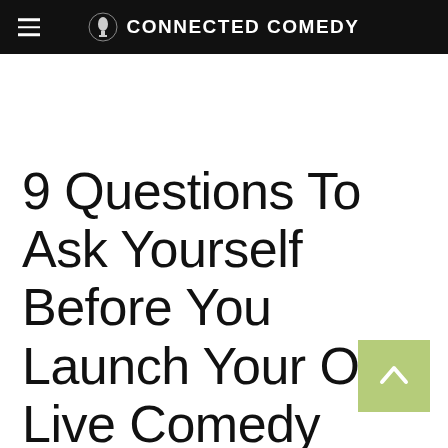CONNECTED COMEDY
9 Questions To Ask Yourself Before You Launch Your Own Live Comedy Show